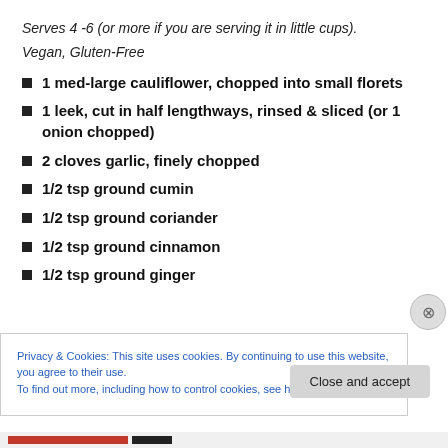Serves 4 -6 (or more if you are serving it in little cups).
Vegan, Gluten-Free
1 med-large cauliflower, chopped into small florets
1 leek, cut in half lengthways, rinsed & sliced (or 1 onion chopped)
2 cloves garlic, finely chopped
1/2 tsp ground cumin
1/2 tsp ground coriander
1/2 tsp ground cinnamon
1/2 tsp ground ginger
Privacy & Cookies: This site uses cookies. By continuing to use this website, you agree to their use.
To find out more, including how to control cookies, see here: Cookie Policy